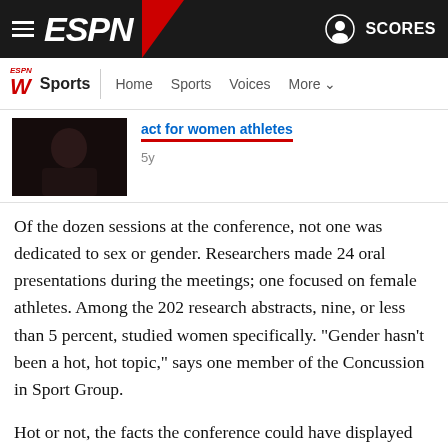ESPN — Sports navigation bar with hamburger menu, ESPN logo, user icon, and SCORES link
ESPN W — Sports | Home  Sports  Voices  More
[Figure (photo): Small thumbnail photo of an athlete, dark moody background]
act for women athletes
5y
Of the dozen sessions at the conference, not one was dedicated to sex or gender. Researchers made 24 oral presentations during the meetings; one focused on female athletes. Among the 202 research abstracts, nine, or less than 5 percent, studied women specifically. "Gender hasn't been a hot, hot topic," says one member of the Concussion in Sport Group.
Hot or not, the facts the conference could have displayed are shocking. Women suffer more concussions than men in the sports that both play, with an injury rate 50 percent higher, according to the most recent research. Female athletes with